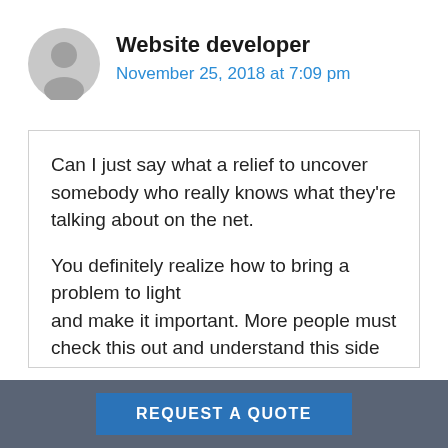[Figure (illustration): Gray circular user avatar icon]
Website developer
November 25, 2018 at 7:09 pm
Can I just say what a relief to uncover somebody who really knows what they're talking about on the net.

You definitely realize how to bring a problem to light and make it important. More people must check this out and understand this side of the story.
REQUEST A QUOTE